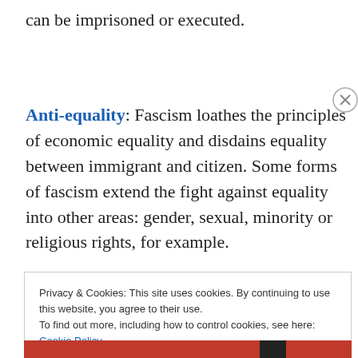can be imprisoned or executed.
Anti-equality: Fascism loathes the principles of economic equality and disdains equality between immigrant and citizen. Some forms of fascism extend the fight against equality into other areas: gender, sexual, minority or religious rights, for example.
Privacy & Cookies: This site uses cookies. By continuing to use this website, you agree to their use.
To find out more, including how to control cookies, see here: Cookie Policy
Close and accept